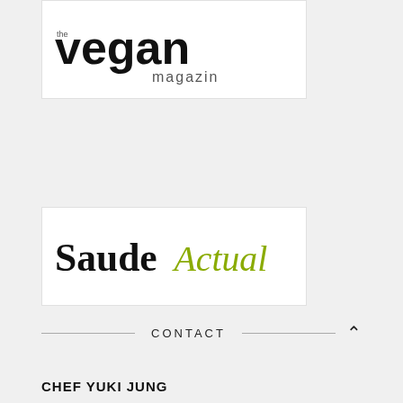[Figure (logo): Vegan Magazin logo — large bold sans-serif 'vegan' text with 'magazin' below in smaller grey text, on white background]
[Figure (logo): Saude Actual logo — 'Saude' in bold black serif and 'Actual' in olive/green italic script, on white background]
[Figure (logo): eco123 logo — stylized 'eco' in olive/green outline circular letters with '123' superscript, on white background]
CONTACT
CHEF YUKI JUNG